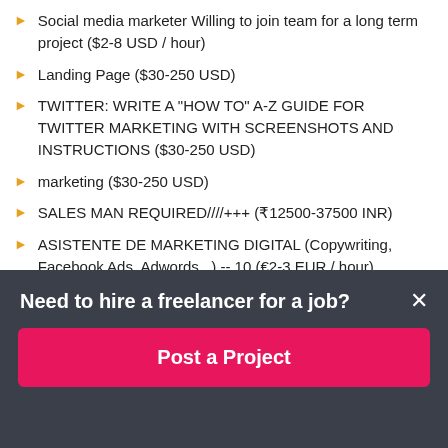Social media marketer Willing to join team for a long term project ($2-8 USD / hour)
Landing Page ($30-250 USD)
TWITTER: WRITE A "HOW TO" A-Z GUIDE FOR TWITTER MARKETING WITH SCREENSHOTS AND INSTRUCTIONS ($30-250 USD)
marketing ($30-250 USD)
SALES MAN REQUIRED////+++ (₹12500-37500 INR)
ASISTENTE DE MARKETING DIGITAL (Copywriting, Facebook Ads, Adwords...) -- 10 (€2-3 EUR / hour)
Internet Marketing Experts Needed ($750-1500 USD)
Need to hire a freelancer for a job?
Post a Project